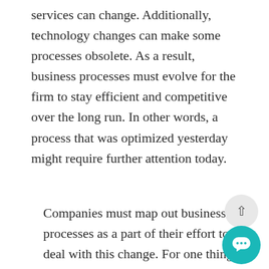services can change. Additionally, technology changes can make some processes obsolete. As a result, business processes must evolve for the firm to stay efficient and competitive over the long run. In other words, a process that was optimized yesterday might require further attention today.
Companies must map out business processes as a part of their effort to deal with this change. For one thing,